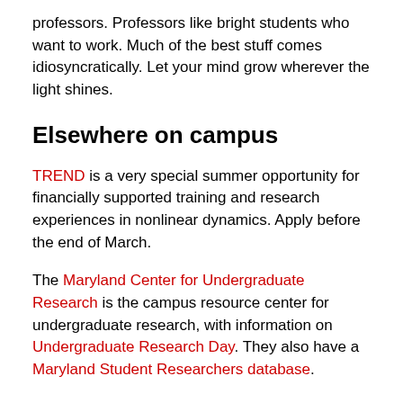professors. Professors like bright students who want to work. Much of the best stuff comes idiosyncratically. Let your mind grow wherever the light shines.
Elsewhere on campus
TREND is a very special summer opportunity for financially supported training and research experiences in nonlinear dynamics. Apply before the end of March.
The Maryland Center for Undergraduate Research is the campus resource center for undergraduate research, with information on Undergraduate Research Day. They also have a Maryland Student Researchers database.
Nationally and beyond
There is a large array of undergraduate research